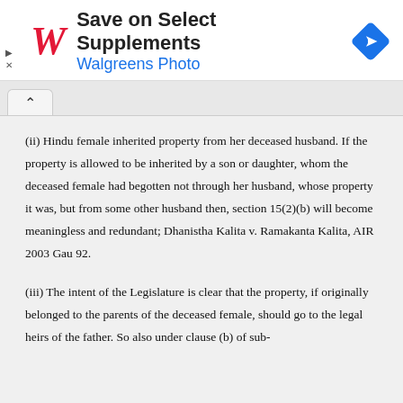[Figure (other): Walgreens advertisement banner with logo, 'Save on Select Supplements' headline, 'Walgreens Photo' subtext, and a blue diamond navigation icon]
(ii) Hindu female inherited property from her deceased husband. If the property is allowed to be inherited by a son or daughter, whom the deceased female had begotten not through her husband, whose property it was, but from some other husband then, section 15(2)(b) will become meaningless and redundant; Dhanistha Kalita v. Ramakanta Kalita, AIR 2003 Gau 92.
(iii) The intent of the Legislature is clear that the property, if originally belonged to the parents of the deceased female, should go to the legal heirs of the father. So also under clause (b) of sub-